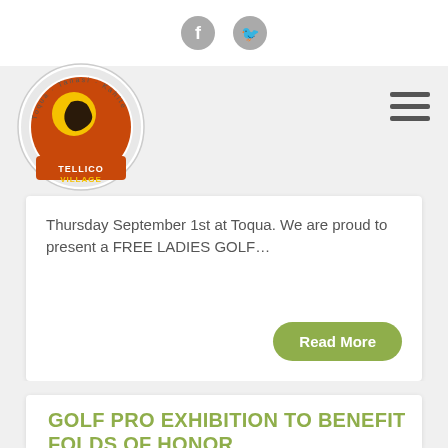[Figure (logo): Tellico Village logo with circular design featuring a bird silhouette and text Toqua, Tanasi, Kahite around the border]
[Figure (other): Facebook and Twitter social media icons in gray at the top of the page]
[Figure (other): Hamburger menu icon (three horizontal lines) on the right side]
Thursday September 1st at Toqua. We are proud to present a FREE LADIES GOLF…
Read More
GOLF PRO EXHIBITION TO BENEFIT FOLDS OF HONOR